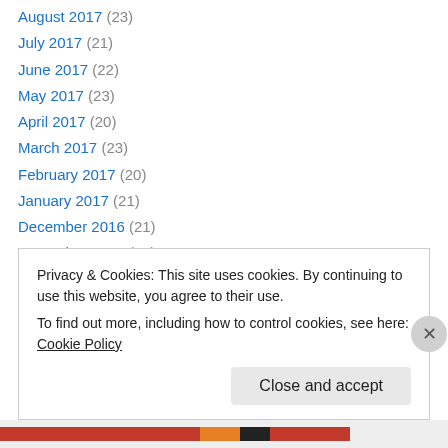August 2017 (23)
July 2017 (21)
June 2017 (22)
May 2017 (23)
April 2017 (20)
March 2017 (23)
February 2017 (20)
January 2017 (21)
December 2016 (21)
November 2016 (21)
October 2016 (21)
September 2016 (21)
August 2016 (23)
Privacy & Cookies: This site uses cookies. By continuing to use this website, you agree to their use. To find out more, including how to control cookies, see here: Cookie Policy